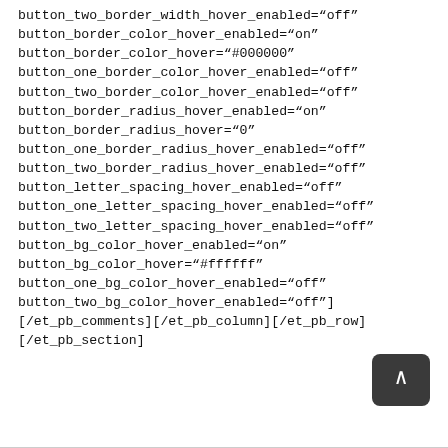button_two_border_width_hover_enabled="off"
button_border_color_hover_enabled="on"
button_border_color_hover="#000000"
button_one_border_color_hover_enabled="off"
button_two_border_color_hover_enabled="off"
button_border_radius_hover_enabled="on"
button_border_radius_hover="0"
button_one_border_radius_hover_enabled="off"
button_two_border_radius_hover_enabled="off"
button_letter_spacing_hover_enabled="off"
button_one_letter_spacing_hover_enabled="off"
button_two_letter_spacing_hover_enabled="off"
button_bg_color_hover_enabled="on"
button_bg_color_hover="#ffffff"
button_one_bg_color_hover_enabled="off"
button_two_bg_color_hover_enabled="off"
[/et_pb_comments][/et_pb_column][/et_pb_row]
[/et_pb_section]